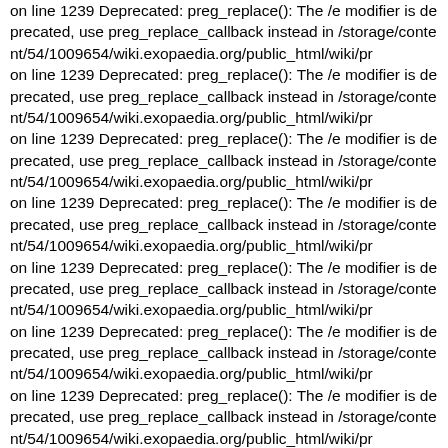on line 1239 Deprecated: preg_replace(): The /e modifier is deprecated, use preg_replace_callback instead in /storage/content/54/1009654/wiki.exopaedia.org/public_html/wiki/pr on line 1239 Deprecated: preg_replace(): The /e modifier is deprecated, use preg_replace_callback instead in /storage/content/54/1009654/wiki.exopaedia.org/public_html/wiki/pr on line 1239 Deprecated: preg_replace(): The /e modifier is deprecated, use preg_replace_callback instead in /storage/content/54/1009654/wiki.exopaedia.org/public_html/wiki/pr on line 1239 Deprecated: preg_replace(): The /e modifier is deprecated, use preg_replace_callback instead in /storage/content/54/1009654/wiki.exopaedia.org/public_html/wiki/pr on line 1239 Deprecated: preg_replace(): The /e modifier is deprecated, use preg_replace_callback instead in /storage/content/54/1009654/wiki.exopaedia.org/public_html/wiki/pr on line 1239 Deprecated: preg_replace(): The /e modifier is deprecated, use preg_replace_callback instead in /storage/content/54/1009654/wiki.exopaedia.org/public_html/wiki/pr on line 1239 Deprecated: preg_replace(): The /e modifier is deprecated, use preg_replace_callback instead in /storage/content/54/1009654/wiki.exopaedia.org/public_html/wiki/pr on line 1239 Deprecated: preg_replace(): The /e modifier is deprecated, use preg_replace_callback instead in /storage/content/54/1009654/wiki.exopaedia.org/public_html/wiki/pr on line 1239 Deprecated: preg_replace(): The /e modifier is deprecated, use preg_replace_callback instead in